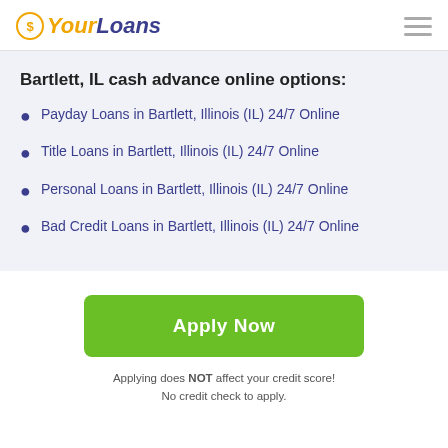YourLoans
Bartlett, IL cash advance online options:
Payday Loans in Bartlett, Illinois (IL) 24/7 Online
Title Loans in Bartlett, Illinois (IL) 24/7 Online
Personal Loans in Bartlett, Illinois (IL) 24/7 Online
Bad Credit Loans in Bartlett, Illinois (IL) 24/7 Online
Apply Now
Applying does NOT affect your credit score! No credit check to apply.